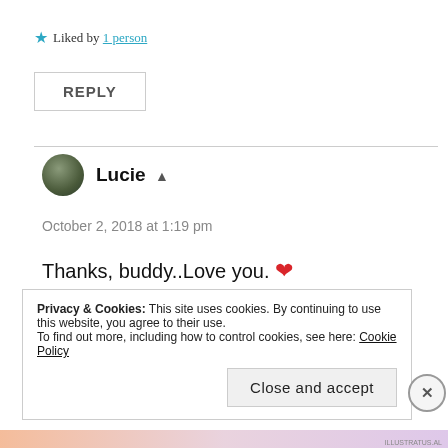★ Liked by 1 person
REPLY
Lucie ▲
October 2, 2018 at 1:19 pm
Thanks, buddy..Love you. ❤
Privacy & Cookies: This site uses cookies. By continuing to use this website, you agree to their use.
To find out more, including how to control cookies, see here: Cookie Policy
Close and accept